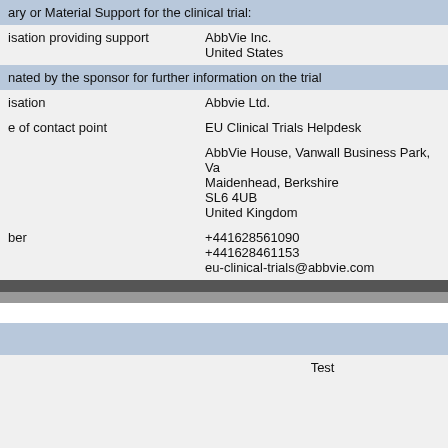| ary or Material Support for the clinical trial: |  |
| isation providing support | AbbVie Inc.
United States |
| nated by the sponsor for further information on the trial |  |
| isation | Abbvie Ltd. |
| e of contact point | EU Clinical Trials Helpdesk |
|  | AbbVie House, Vanwall Business Park, Va
Maidenhead, Berkshire
SL6 4UB
United Kingdom |
| ber | +441628561090
+441628461153
eu-clinical-trials@abbvie.com |
|  | Test |